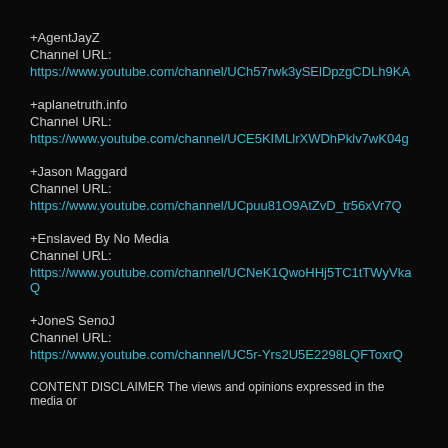+AgentJayZ
Channel URL:
https://www.youtube.com/channel/UCh57rwk3ySElDpzgCDLh9KA
+aplanetruth.info
Channel URL:
https://www.youtube.com/channel/UCE5KIMLlrXWDhPklv7wK04g
+Jason Maggard
Channel URL:
https://www.youtube.com/channel/UCpuu81O9AtZvD_tr56xVr7Q
+Enslaved By No Media
Channel URL:
https://www.youtube.com/channel/UCNeK1QwoHHj5TC1tTWyVkaQ
+JoneS SenoJ
Channel URL:
https://www.youtube.com/channel/UC5r-Yrs2U5E2298LQFToxrQ
CONTENT DISCLAIMER The views and opinions expressed in the media or